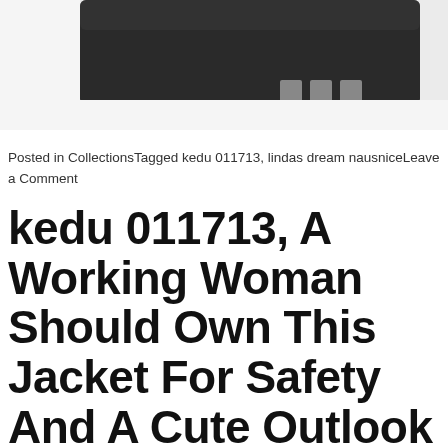[Figure (photo): Close-up photo of a dark/black electronic or mechanical component with metal pins, photographed against a white background. Only the bottom portion of the object is visible.]
Posted in CollectionsTagged kedu 011713, lindas dream nausniceLeave a Comment
kedu 011713, A Working Woman Should Own This Jacket For Safety And A Cute Outlook
Posted on January 6, 2022 by Ralph Dawn